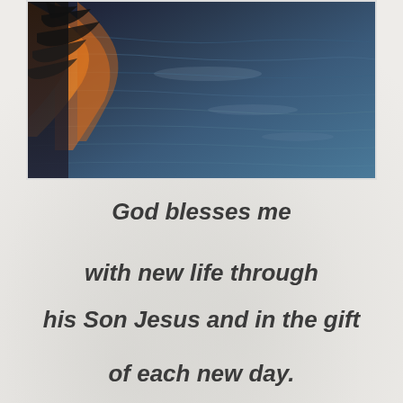[Figure (photo): Photograph of a water surface reflecting sunset orange and golden light with dark silhouettes of trees or branches on the left side, and blue-grey rippled water on the right.]
God blesses me with new life through his Son Jesus and in the gift of each new day.